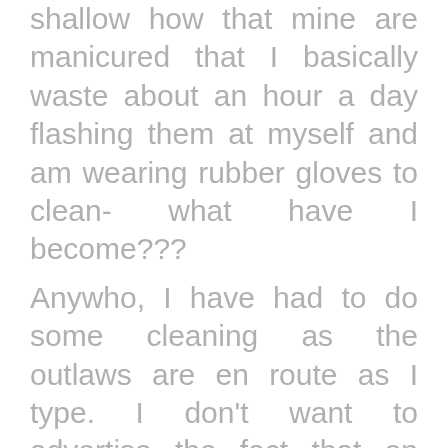shallow how that mine are manicured that I basically waste about an hour a day flashing them at myself and am wearing rubber gloves to clean- what have I become???
Anywho, I have had to do some cleaning as the outlaws are en route as I type. I don't want to advertise the fact that on occasion we reside in more of a hovel than a home so I was on it like a car bonnet yesterday. I even moved the table to mop the floor. (Basically feel like a war hero due to this gargantuan effort).
I have even cooked all meals for the weekend from scratch.
What with the corsetry, the cooking and the